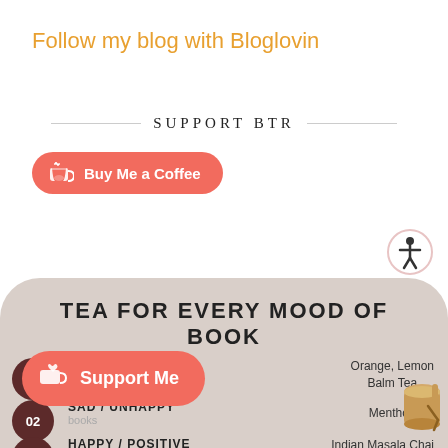Follow my blog with Bloglovin
SUPPORT BTR
[Figure (infographic): Buy Me a Coffee button - pink rounded rectangle with cup icon and text 'Buy Me a Coffee']
[Figure (infographic): Accessibility person icon in circle]
TEA FOR EVERY MOOD OF BOOK
01 ANGRY Provocative books — Orange, Lemon Balm Tea
02 SAD / UNHAPPY [books] — Menthol Tea
03 HAPPY / POSITIVE — Indian Masala Chai
[Figure (infographic): Support Me button overlay - pink rounded rectangle with heart cup icon and text 'Support Me']